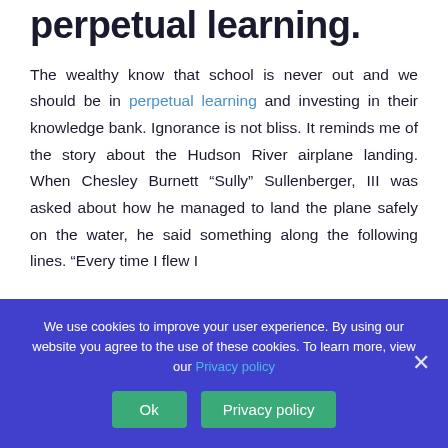perpetual learning.
The wealthy know that school is never out and we should be in perpetual learning and investing in their knowledge bank. Ignorance is not bliss. It reminds me of the story about the Hudson River airplane landing. When Chesley Burnett “Sully” Sullenberger, III was asked about how he managed to land the plane safely on the water, he said something along the following lines. “Every time I flew I
We use cookies to improve your user experience. By using our website you agree to the use of these cookies. To learn more, view our Privacy policy
Ok
Privacy policy